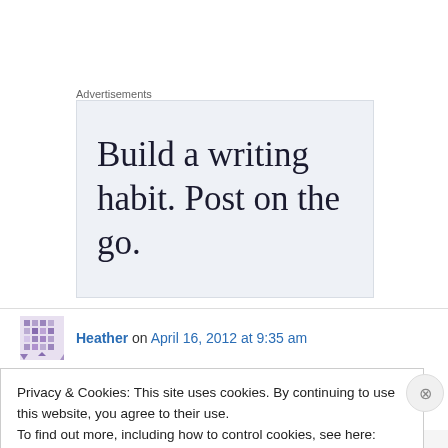Advertisements
[Figure (other): Advertisement banner with text: Build a writing habit. Post on the go.]
Heather on April 16, 2012 at 9:35 am
Privacy & Cookies: This site uses cookies. By continuing to use this website, you agree to their use. To find out more, including how to control cookies, see here: Cookie Policy
Close and accept